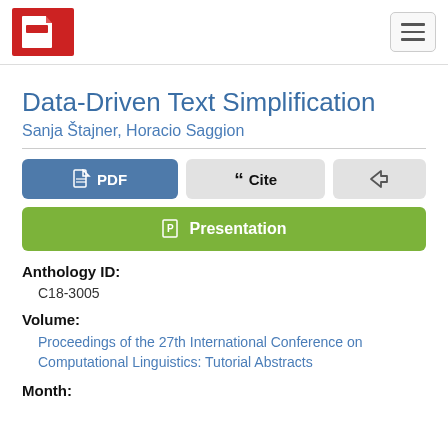ACL Anthology
Data-Driven Text Simplification
Sanja Štajner, Horacio Saggion
PDF  |  Cite  |  Share  |  Presentation
Anthology ID:
C18-3005
Volume:
Proceedings of the 27th International Conference on Computational Linguistics: Tutorial Abstracts
Month: